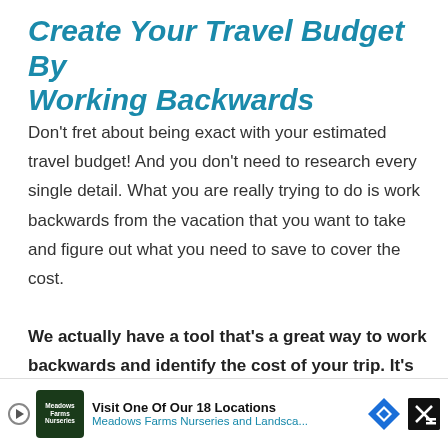Create Your Travel Budget By Working Backwards
Don't fret about being exact with your estimated travel budget! And you don't need to research every single detail. What you are really trying to do is work backwards from the vacation that you want to take and figure out what you need to save to cover the cost.
We actually have a tool that's a great way to work backwards and identify the cost of your trip. It's our Vacation Planning Template (free Excel do... for... will
[Figure (screenshot): Advertisement banner for Meadows Farms Nurseries and Landscape: 'Visit One Of Our 18 Locations' with logo, play button, blue diamond navigation icon, and close button]